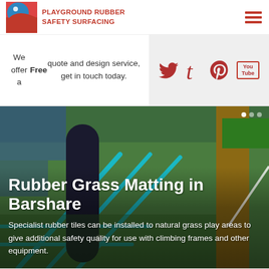[Figure (logo): Playground Rubber Safety Surfacing logo with blue and red wave/circle icon]
PLAYGROUND RUBBER SAFETY SURFACING
We offer a Free quote and design service, get in touch today.
[Figure (infographic): Social media icons: Twitter, Tumblr, Pinterest, YouTube on grey background]
[Figure (photo): Playground equipment photo showing rubber grass matting with climbing frame ropes]
Rubber Grass Matting in Barshare
Specialist rubber tiles can be installed to natural grass play areas to give additional safety quality for use with climbing frames and other equipment.